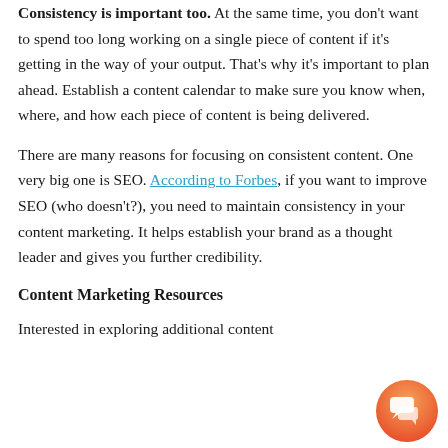Consistency is important too. At the same time, you don't want to spend too long working on a single piece of content if it's getting in the way of your output. That's why it's important to plan ahead. Establish a content calendar to make sure you know when, where, and how each piece of content is being delivered.
There are many reasons for focusing on consistent content. One very big one is SEO. According to Forbes, if you want to improve SEO (who doesn't?), you need to maintain consistency in your content marketing. It helps establish your brand as a thought leader and gives you further credibility.
Content Marketing Resources
Interested in exploring additional content